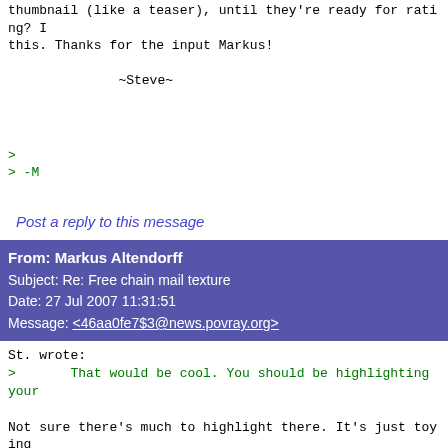thumbnail (like a teaser), until they're ready for rating? I
this. Thanks for the input Markus!

        ~Steve~
>
> -M
Post a reply to this message
From: Markus Altendorff
Subject: Re: Free chain mail texture
Date: 27 Jul 2007 11:31:51
Message: <46aa0fe7$3@news.povray.org>
St. wrote:
>       That would be cool. You should be highlighting your

Not sure there's much to highlight there. It's just toying
around and things hastily thrown together due to IRTC
deadlines and nowhere near what i'd actually like to be able
to pull off. :)

>> Same thing (the fresnel effect) was added to the main ski
>> providing a 20% illuminated edge at all times, no matter
>> http://wip.anthrosphinx.de/episode010/20070726_221333_sna
>> Improves shadow contour visibility in the dark and doesn'
>> in the light, without render hogs like ambient occlusion.
>
>       Oh, that's neat. Is that possible in PoV-Ray, do you